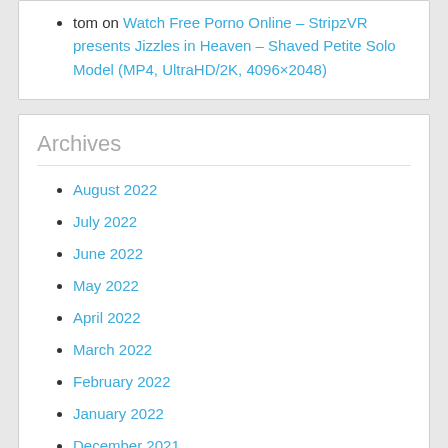tom on Watch Free Porno Online – StripzVR presents Jizzles in Heaven – Shaved Petite Solo Model (MP4, UltraHD/2K, 4096×2048)
Archives
August 2022
July 2022
June 2022
May 2022
April 2022
March 2022
February 2022
January 2022
December 2021